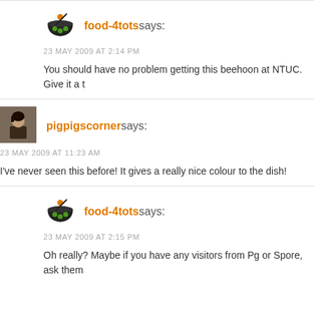[Figure (logo): food-4tots logo: stylized bowl with orange dot and green dots]
food-4tots says:
23 MAY 2009 AT 2:14 PM
You should have no problem getting this beehoon at NTUC. Give it a t
[Figure (photo): Profile photo of pigpigscorner - person holding food]
pigpigscorner says:
23 MAY 2009 AT 11:23 AM
I've never seen this before! It gives a really nice colour to the dish!
[Figure (logo): food-4tots logo: stylized bowl with orange dot and green dots]
food-4tots says:
23 MAY 2009 AT 2:15 PM
Oh really? Maybe if you have any visitors from Pg or Spore, ask them